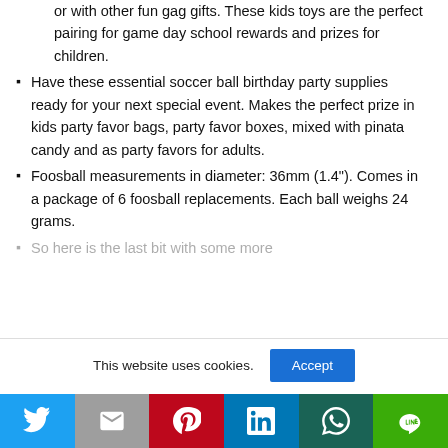or with other fun gag gifts. These kids toys are the perfect pairing for game day school rewards and prizes for children.
Have these essential soccer ball birthday party supplies ready for your next special event. Makes the perfect prize in kids party favor bags, party favor boxes, mixed with pinata candy and as party favors for adults.
Foosball measurements in diameter: 36mm (1.4"). Comes in a package of 6 foosball replacements. Each ball weighs 24 grams.
[partially visible list item below]